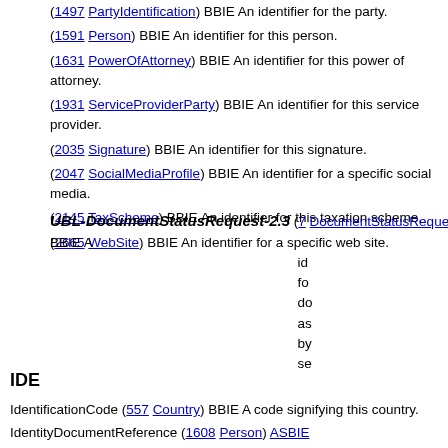(1497 PartyIdentification) BBIE An identifier for the party.
(1591 Person) BBIE An identifier for this person.
(1631 PowerOfAttorney) BBIE An identifier for this power of attorney.
(1931 ServiceProviderParty) BBIE An identifier for this service provider.
(2035 Signature) BBIE An identifier for this signature.
(2047 SocialMediaProfile) BBIE An identifier for a specific social media.
(2145 TaxScheme) BBIE An identifier for this taxation scheme.
(2665 WebSite) BBIE An identifier for a specific web site.
UBL-DocumentStatusRequest-2.3 (7 DocumentStatusRequest) BBIE A identifier for this document as assigned by the se
IDE
IdentificationCode (557 Country) BBIE A code signifying this country.
IdentityDocumentReference (1608 Person) ASBIE (DocumentReference) A reference to a document